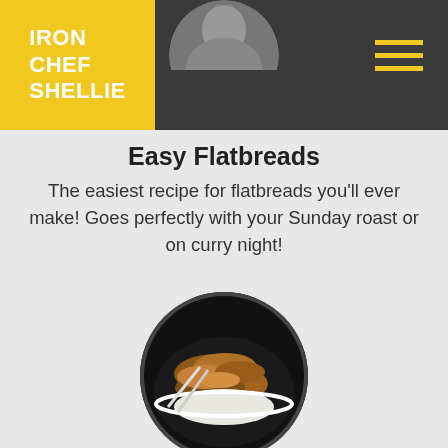IRON CHEF SHELLIE
Easy Flatbreads
The easiest recipe for flatbreads you'll ever make! Goes perfectly with your Sunday roast or on curry night!
[Figure (photo): Circular photo of Chicken Tonkatsu dish in a dark bowl]
Chicken Tonkatsu
A staple dish in our home. It may take a little while to prepare the